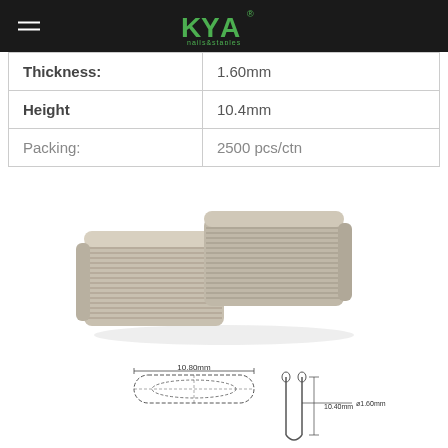[Figure (logo): KYA nails&staples logo in green on black header bar]
| Thickness: | 1.60mm |
| Height | 10.4mm |
| Packing: | 2500 pcs/ctn |
[Figure (photo): Photograph of two stacks of metal staples/clips (ring shank nails) arranged side by side, silver/metallic color]
[Figure (engineering-diagram): Technical schematic drawing of a staple/clip showing top view (oval shape, 10.80mm width) and side view with dimensions: 10.40mm height and ø1.60mm wire diameter]